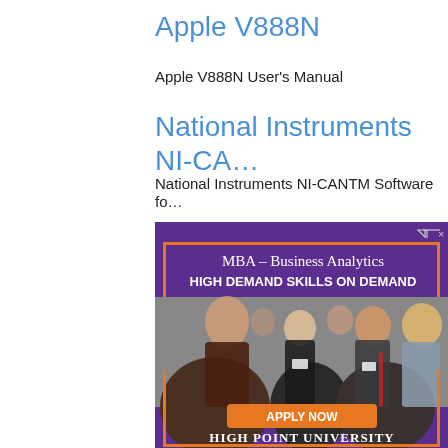Apple V888N
Apple V888N User's Manual
National Instruments NI-CA…
National Instruments NI-CANTM Software fo…
[Figure (photo): Advertisement banner for High Point University MBA – Business Analytics program. Purple background with text 'MBA – Business Analytics', 'HIGH DEMAND SKILLS ON DEMAND', a photo of business networking event with people talking, an orange 'APPLY NOW' button, and 'HIGH POINT UNIVERSITY' text at the bottom. A small ad icon is visible in top right corner.]